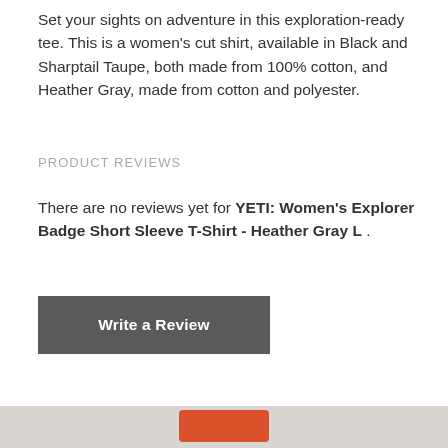Set your sights on adventure in this exploration-ready tee. This is a women's cut shirt, available in Black and Sharptail Taupe, both made from 100% cotton, and Heather Gray, made from cotton and polyester.
PRODUCT REVIEWS
There are no reviews yet for YETI: Women's Explorer Badge Short Sleeve T-Shirt - Heather Gray L .
[Figure (other): Dark gray button labeled 'Write a Review']